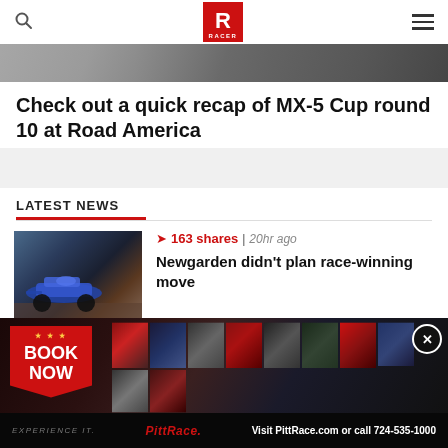RACER
[Figure (photo): Hero image strip showing racing background]
Check out a quick recap of MX-5 Cup round 10 at Road America
LATEST NEWS
[Figure (photo): IndyCar race photo showing a blue Dallara racing car on track]
163 shares | 20hr ago
Newgarden didn't plan race-winning move
[Figure (photo): PittRace advertisement banner with BOOK NOW call to action. Visit PittRace.com or call 724-535-1000]